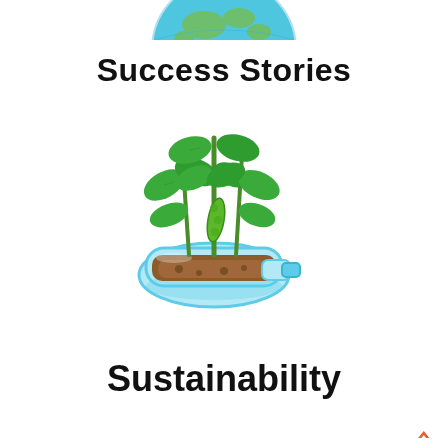[Figure (illustration): Partial globe/world icon at top of page, cropped]
Success Stories
[Figure (illustration): Illustration of a plastic bottle used as a planter with soil and green bean/pea plants growing out of it, light blue water/liquid outline around bottle]
Sustainability
^ (navigation up arrow in orange)